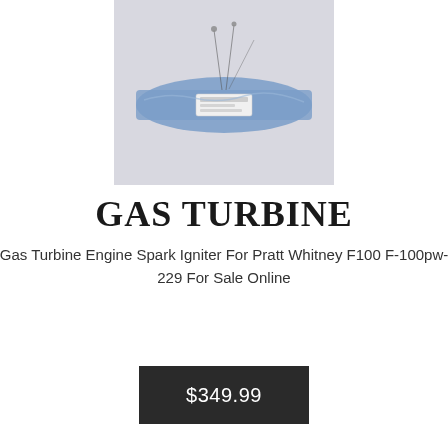[Figure (photo): A gas turbine engine spark igniter component in a blue plastic bag, photographed against a light gray background.]
GAS TURBINE
Gas Turbine Engine Spark Igniter For Pratt Whitney F100 F-100pw-229 For Sale Online
$349.99